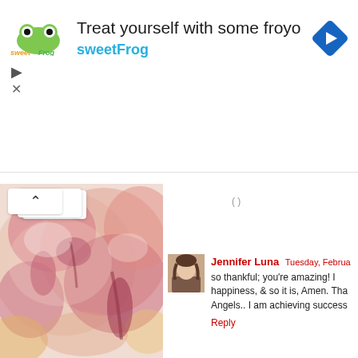[Figure (screenshot): SweetFrog frozen yogurt advertisement banner with logo, text 'Treat yourself with some froyo' and 'sweetFrog', and a blue diamond arrow icon on the right. Play and close controls on the left.]
[Figure (illustration): Watercolor painting of abstract red, pink, orange, and purple floral/organic shapes on a light background.]
Jennifer Luna  Tuesday, Februa...
so thankful; you're amazing! I happiness, & so it is, Amen. Tha Angels.. I am achieving success
Reply
Lilian Kovr  Monday, February 2...
Amen praise God
Reply
Unknown  Thursday, May 02, 20...
Thank you so much Joanne can...